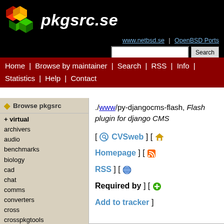pkgsrc.se
www.netbsd.se | OpenBSD Ports
Search bar
Home | Browse by maintainer | Search | RSS | Info | Statistics | Help | Contact
Browse pkgsrc
+ virtual
archivers
audio
benchmarks
biology
cad
chat
comms
converters
cross
crosspkgtools
databases
devel
doc
editors
emulators
./www/py-djangocms-flash, Flash plugin for django CMS
[ CVSweb ] [ Homepage ] [ RSS ] [ Required by ] [ Add to tracker ]